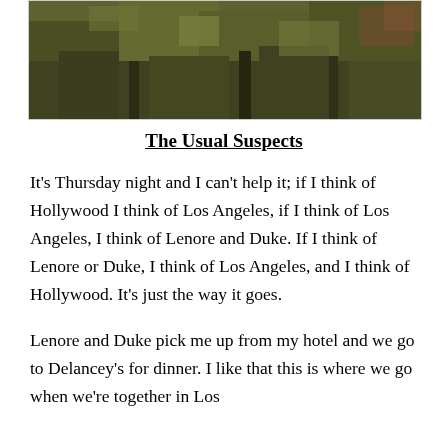[Figure (photo): A photograph of dense foliage and trees with autumn colors, dark olive and brown tones, cropped at the top of the page.]
The Usual Suspects
It's Thursday night and I can't help it; if I think of Hollywood I think of Los Angeles, if I think of Los Angeles, I think of Lenore and Duke. If I think of Lenore or Duke, I think of Los Angeles, and I think of Hollywood. It's just the way it goes.
Lenore and Duke pick me up from my hotel and we go to Delancey's for dinner. I like that this is where we go when we're together in Los